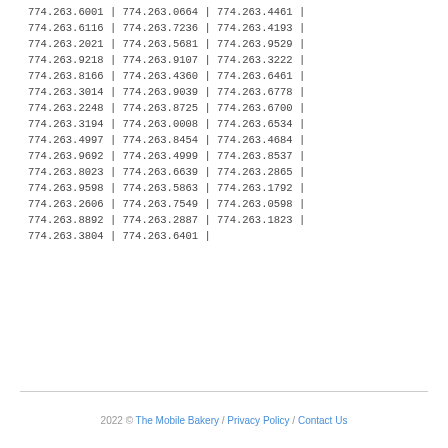774.263.6001 | 774.263.0664 | 774.263.4461 | 774.263.6116 | 774.263.7236 | 774.263.4193 | 774.263.2021 | 774.263.5681 | 774.263.9529 | 774.263.9218 | 774.263.9107 | 774.263.3222 | 774.263.8166 | 774.263.4360 | 774.263.6461 | 774.263.3014 | 774.263.9039 | 774.263.6778 | 774.263.2248 | 774.263.8725 | 774.263.6700 | 774.263.3194 | 774.263.0008 | 774.263.6534 | 774.263.4997 | 774.263.8454 | 774.263.4684 | 774.263.9692 | 774.263.4999 | 774.263.8537 | 774.263.8023 | 774.263.6639 | 774.263.2865 | 774.263.9598 | 774.263.5863 | 774.263.1792 | 774.263.2606 | 774.263.7549 | 774.263.0598 | 774.263.8892 | 774.263.2887 | 774.263.1823 | 774.263.3804 | 774.263.6401
2022 © The Mobile Bakery / Privacy Policy / Contact Us